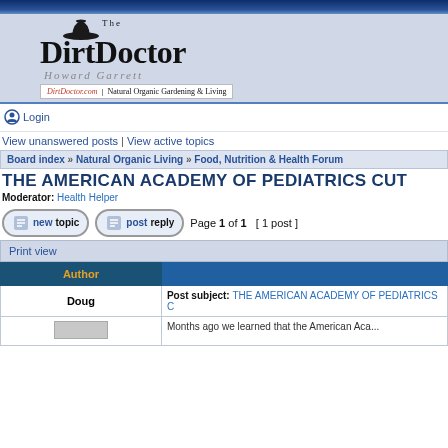[Figure (logo): The Dirt Doctor - Howard Garrett logo with cowboy hat icon. Tagline: DirtDoctor.com | Natural Organic Gardening & Living]
Login
View unanswered posts | View active topics
Board index » Natural Organic Living » Food, Nutrition & Health Forum
THE AMERICAN ACADEMY OF PEDIATRICS CUT
Moderator: Health Helper
Page 1 of 1  [ 1 post ]
Print view
| Author | Message |
| --- | --- |
| Doug | Post subject: THE AMERICAN ACADEMY OF PEDIATRICS C... |
|  | Months ago we learned that the American Aca... |
Months ago we learned that the American Aca...